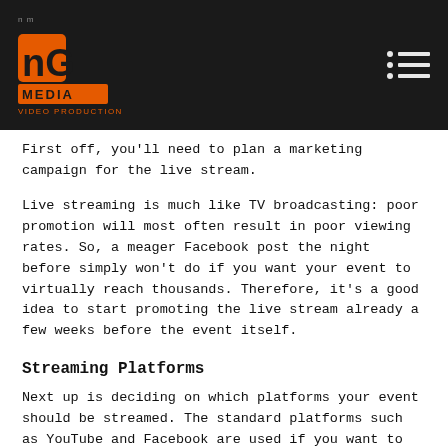NG Media Video Production
First off, you'll need to plan a marketing campaign for the live stream.
Live streaming is much like TV broadcasting: poor promotion will most often result in poor viewing rates. So, a meager Facebook post the night before simply won't do if you want your event to virtually reach thousands. Therefore, it's a good idea to start promoting the live stream already a few weeks before the event itself.
Streaming Platforms
Next up is deciding on which platforms your event should be streamed. The standard platforms such as YouTube and Facebook are used if you want to reach as broad an audience as possible, and it easily converts your